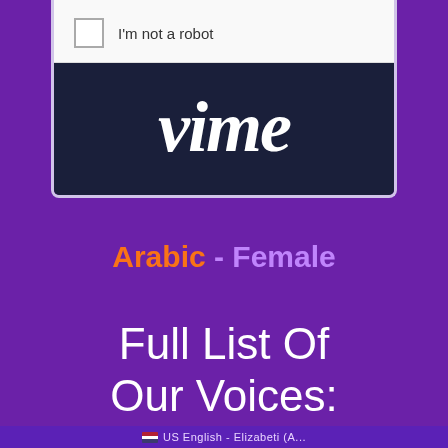[Figure (screenshot): Screenshot of a reCAPTCHA checkbox widget saying 'I'm not a robot' overlaid on a partial Vimeo logo on dark navy background]
Arabic - Female
Full List Of Our Voices:
US English - Elizabeth (A...